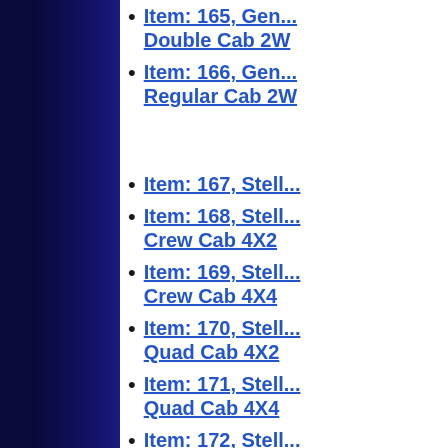Item: 165, General Motors — Double Cab 2W...
Item: 166, General Motors — Regular Cab 2W...
Item: 167, Stellantis...
Item: 168, Stellantis — Crew Cab 4X2...
Item: 169, Stellantis — Crew Cab 4X4...
Item: 170, Stellantis — Quad Cab 4X2...
Item: 171, Stellantis — Quad Cab 4X4...
Item: 172, Stellantis — Regular Cab 4X...
Item: 173, Stellantis — Regular Cab 4X...
Item: 175, Stellantis — (144.5 in WB 5...
Item: 176, Stellantis...